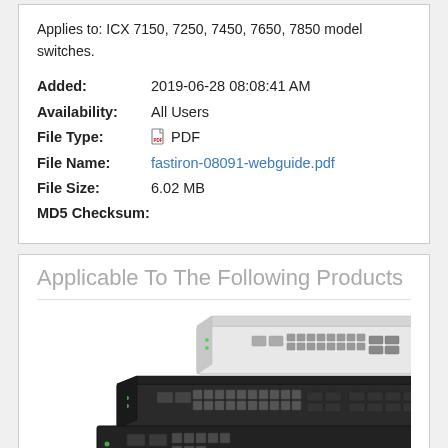Applies to: ICX 7150, 7250, 7450, 7650, 7850 model switches.
Added: 2019-06-28 08:08:41 AM
Availability: All Users
File Type: PDF
File Name: fastiron-08091-webguide.pdf
File Size: 6.02 MB
MD5 Checksum:
Applicable To The Following Products
[Figure (photo): Photo of stacked network switches — ICX series switches shown from above at an angle, including white desktop and black rack-mount models.]